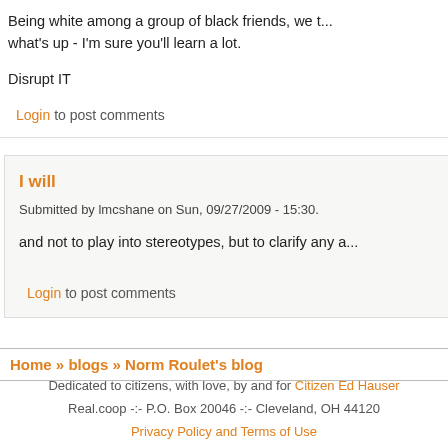Being white among a group of black friends, we t... what's up - I'm sure you'll learn a lot.
Disrupt IT
Login to post comments
I will
Submitted by lmcshane on Sun, 09/27/2009 - 15:30.
and not to play into stereotypes, but to clarify any a...
Login to post comments
Home » blogs » Norm Roulet's blog
Dedicated to citizens, with love, by and for Citizen Ed Hauser
Real.coop -:- P.O. Box 20046 -:- Cleveland, OH 44120
Privacy Policy and Terms of Use